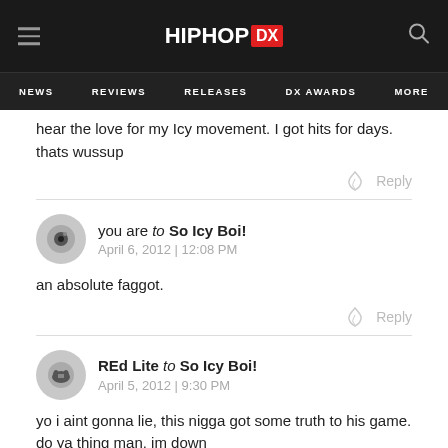HIPHOP DX — NEWS | REVIEWS | RELEASES | DX AWARDS | MORE
hear the love for my Icy movement. I got hits for days. thats wussup
Reply
you are to So Icy Boi! — April 6, 2012 | 12:08 PM
an absolute faggot.
Reply
REd Lite to So Icy Boi! — April 5, 2012 | 9:30 PM
yo i aint gonna lie, this nigga got some truth to his game. do ya thing man. im down